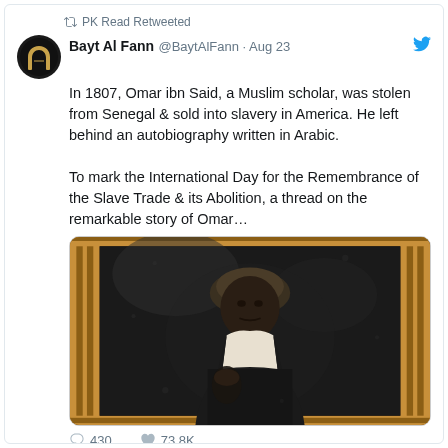PK Read Retweeted
Bayt Al Fann @BaytAlFann · Aug 23
In 1807, Omar ibn Said, a Muslim scholar, was stolen from Senegal & sold into slavery in America. He left behind an autobiography written in Arabic.

To mark the International Day for the Remembrance of the Slave Trade & its Abolition, a thread on the remarkable story of Omar…
[Figure (photo): Historical tintype/daguerreotype portrait of Omar ibn Said, an elderly Black man wearing a head wrap and dark jacket, seated and posed formally. The photo has a decorative frame with reddish-brown and gold borders.]
430   73.8K